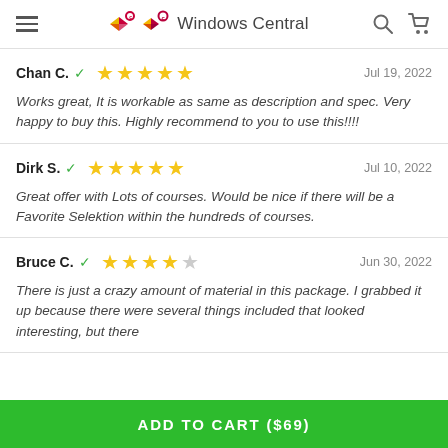Windows Central
Chan C. ✓ ★★★★★ Jul 19, 2022
Works great, It is workable as same as description and spec. Very happy to buy this. Highly recommend to you to use this!!!!
Dirk S. ✓ ★★★★★ Jul 10, 2022
Great offer with Lots of courses. Would be nice if there will be a Favorite Selektion within the hundreds of courses.
Bruce C. ✓ ★★★★☆ Jun 30, 2022
There is just a crazy amount of material in this package. I grabbed it up because there were several things included that looked interesting, but there
ADD TO CART ($69)